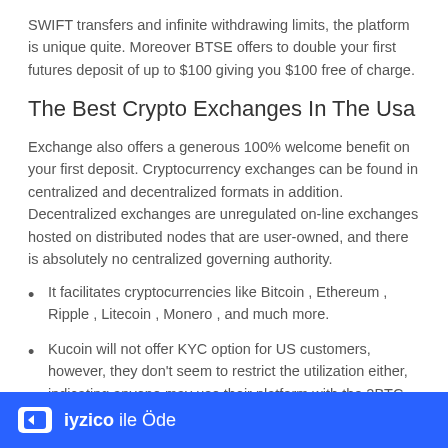SWIFT transfers and infinite withdrawing limits, the platform is unique quite. Moreover BTSE offers to double your first futures deposit of up to $100 giving you $100 free of charge.
The Best Crypto Exchanges In The Usa
Exchange also offers a generous 100% welcome benefit on your first deposit. Cryptocurrency exchanges can be found in centralized and decentralized formats in addition. Decentralized exchanges are unregulated on-line exchanges hosted on distributed nodes that are user-owned, and there is absolutely no centralized governing authority.
It facilitates cryptocurrencies like Bitcoin , Ethereum , Ripple , Litecoin , Monero , and much more.
Kucoin will not offer KYC option for US customers, however, they don't seem to restrict the utilization either, indicating anyone may use their platform with the 2BTC withdraw limit freely.
There are actually quite a few different platforms that will be near the top of the lists of the best US crypto exchanges.
e is the
[Figure (other): iyzico ile Öde advertisement banner — blue background with white card icon and white text]